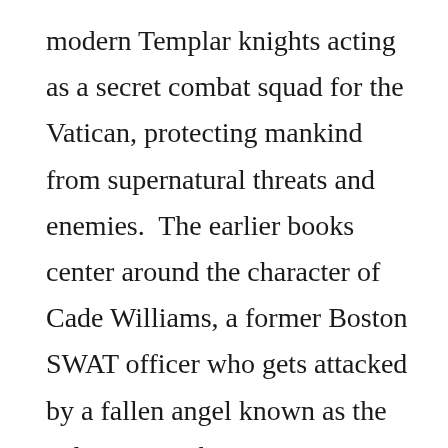modern Templar knights acting as a secret combat squad for the Vatican, protecting mankind from supernatural threats and enemies.  The earlier books center around the character of Cade Williams, a former Boston SWAT officer who gets attacked by a fallen angel known as the Adversary.  That same creature “kills” Cade’s wife, Gabrielle, or so he thinks.
We find out pretty early on in the series